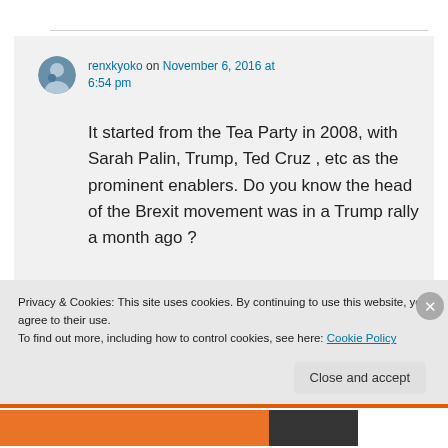renxkyoko on November 6, 2016 at 6:54 pm
It started from the Tea Party in 2008, with Sarah Palin, Trump, Ted Cruz , etc as the prominent enablers. Do you know the head of the Brexit movement was in a Trump rally a month ago ?
Privacy & Cookies: This site uses cookies. By continuing to use this website, you agree to their use.
To find out more, including how to control cookies, see here: Cookie Policy
Close and accept